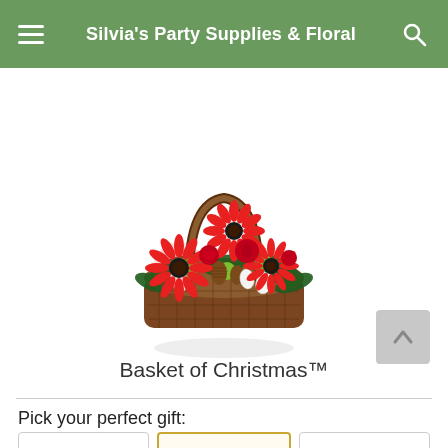Silvia's Party Supplies & Floral
[Figure (photo): A floral arrangement called 'Basket of Christmas' showing red gerbera daisies, red roses, white alstroemeria, green button mums, pine cones, and evergreen foliage in a dark wicker basket with a handle.]
Basket of Christmas™
Pick your perfect gift: